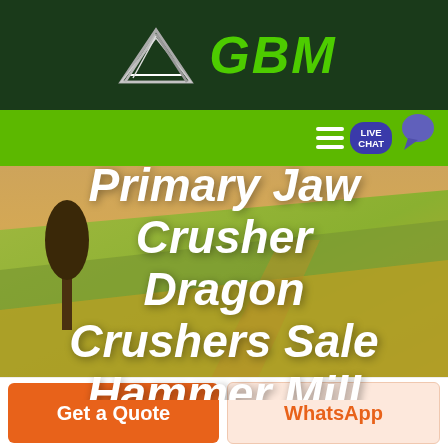[Figure (logo): GBM company logo with mountain/arrow graphic in white/gray and green bold italic GBM text on dark green background]
[Figure (screenshot): Green navigation bar with hamburger menu and Live Chat bubble button]
[Figure (photo): Aerial photo of rolling green and golden agricultural fields with a lone tree, used as hero background]
Primary Jaw Crusher Dragon Crushers Sale Hammer Mill Pretoria
Get a Quote
WhatsApp